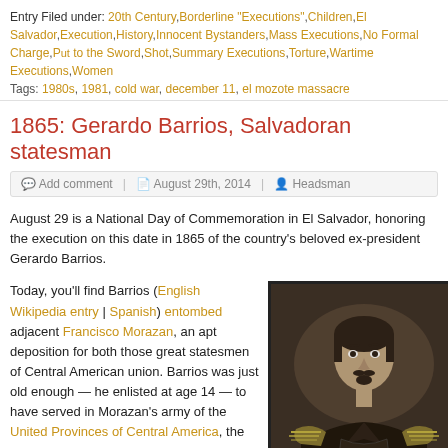Entry Filed under: 20th Century,Borderline "Executions",Children,El Salvador,Execution,History,Innocent Bystanders,Mass Executions,No Formal Charge,Put to the Sword,Shot,Summary Executions,Torture,Wartime Executions,Women
Tags: 1980s, 1981, cold war, december 11, el mozote massacre
1865: Gerardo Barrios, Salvadoran statesman
Add comment | August 29th, 2014 | Headsman
August 29 is a National Day of Commemoration in El Salvador, honoring the execution on this date in 1865 of the country's beloved ex-president Gerardo Barrios.
Today, you'll find Barrios (English Wikipedia entry | Spanish) entombed adjacent Francisco Morazan, an apt deposition for both those great statesmen of Central American union. Barrios was just old enough — he enlisted at age 14 — to have served in Morazan's army of the United Provinces of Central America, the abbreviated political expression of a wonderful vision for Spain's former possessions. "This magnificent location between the two great oceans," Bolivar once enthused of Central America,
[Figure (photo): Sepia-toned portrait photograph of Gerardo Barrios in military uniform with epaulettes, arms crossed, dark background]
could in time become the emporium of the world. Its canals will shorten the distances throughout the world